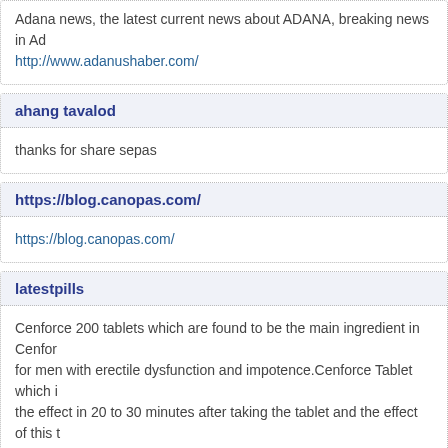Adana news, the latest current news about ADANA, breaking news in Ad...
http://www.adanushaber.com/
ahang tavalod
thanks for share sepas
https://blog.canopas.com/
https://blog.canopas.com/
latestpills
Cenforce 200 tablets which are found to be the main ingredient in Cenfor... for men with erectile dysfunction and impotence.Cenforce Tablet which i... the effect in 20 to 30 minutes after taking the tablet and the effect of this t...
Diystriharris
The pill is a phosphodiesterase 5 inhibitor and works to instantly regulate... erection. The pill should be taken one hour before intercourse and no oth...